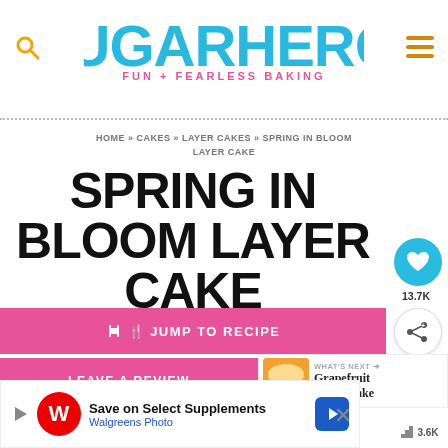[Figure (logo): SugarHero! logo in teal/cyan lettering with tagline FUN + FEARLESS BAKING in pink]
HOME » CAKES » LAYER CAKES » SPRING IN BLOOM LAYER CAKE
SPRING IN BLOOM LAYER CAKE
♥ 13.7K
🍴 JUMP TO RECIPE
LEAVE A REVIEW
WHAT'S NEXT → Grapefruit Layer Cake
[Figure (illustration): Five pink star ratings]
[Figure (screenshot): Walgreens ad: Save on Select Supplements, Walgreens Photo]